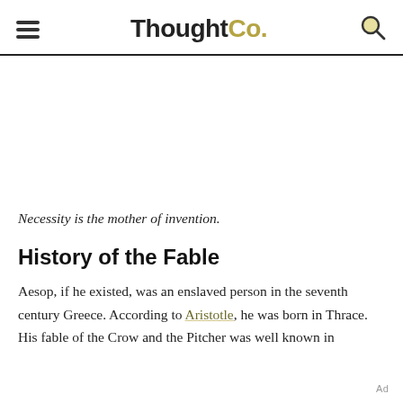ThoughtCo.
[Figure (other): Advertisement / blank white space area]
Necessity is the mother of invention.
History of the Fable
Aesop, if he existed, was an enslaved person in the seventh century Greece. According to Aristotle, he was born in Thrace. His fable of the Crow and the Pitcher was well known in
Ad